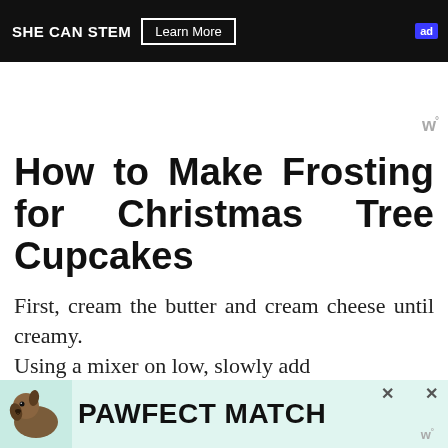[Figure (other): SHE CAN STEM advertisement banner with Learn More button on dark background]
How to Make Frosting for Christmas Tree Cupcakes
First, cream the butter and cream cheese until creamy.
Using a mixer on low, slowly add
[Figure (other): PAWFECT MATCH advertisement banner with dog image at bottom of page]